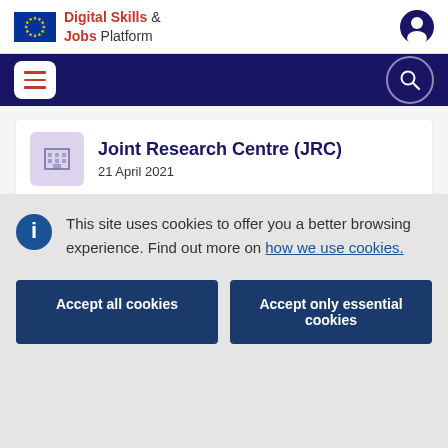Digital Skills & Jobs Platform
Joint Research Centre (JRC)
21 April 2021
This site uses cookies to offer you a better browsing experience. Find out more on how we use cookies.
Accept all cookies
Accept only essential cookies